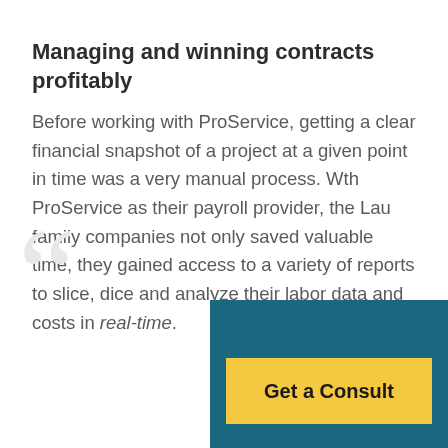Managing and winning contracts profitably
Before working with ProService, getting a clear financial snapshot of a project at a given point in time was a very manual process. Wth ProService as their payroll provider, the Lau family companies not only saved valuable time, they gained access to a variety of reports to slice, dice and analyze their labor data and costs in real-time.
[Figure (illustration): Large decorative open quotation marks in light gray]
[Figure (infographic): Teal background box in bottom right with a yellow 'Get a Consult' call-to-action button]